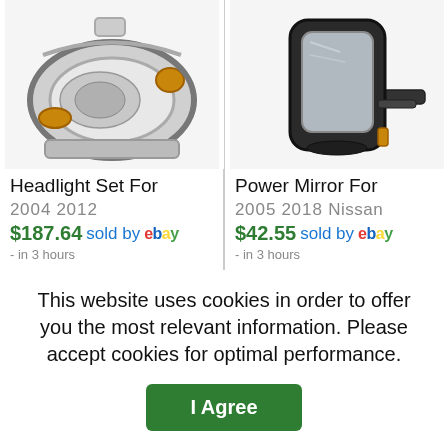[Figure (photo): Headlight set product photo showing a pair of headlights]
Headlight Set For
2004 2012
$187.64 sold by ebay
- in 3 hours
[Figure (photo): Power mirror product photo showing a black side view mirror]
Power Mirror For
2005 2018 Nissan
$42.55 sold by ebay
- in 3 hours
This website uses cookies in order to offer you the most relevant information. Please accept cookies for optimal performance.
I Agree